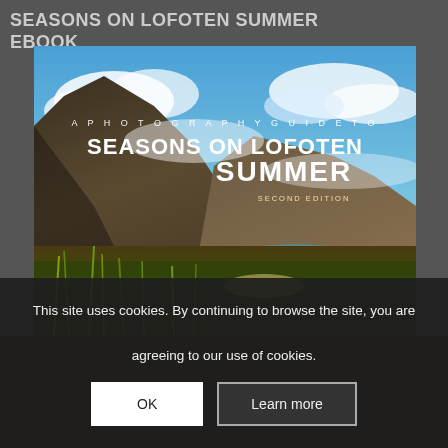SEASONS ON LOFOTEN SUMMER EBOOK
[Figure (photo): Book cover for 'A Photography Guide to Seasons on Lofoten Summer, Second Edition' showing dramatic mountain landscape with green foreground vegetation, rocky peaks with clouds, and blue sky.]
This site uses cookies. By continuing to browse the site, you are agreeing to our use of cookies.
OK | Learn more